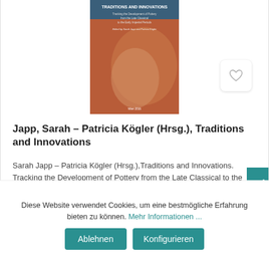[Figure (photo): Book cover of 'Traditions and Innovations: Tracking the Development of Pottery from the Late Classical to the Early Imperial Periods', edited by Sarah Japp and Patricia Kögler. Cover has a terracotta/brown color with a hand holding pottery in the background.]
Japp, Sarah – Patricia Kögler (Hrsg.), Traditions and Innovations
Sarah Japp – Patricia Kögler (Hrsg.),Traditions and Innovations. Tracking the Development of Pottery from the Late Classical to the Early Imperial...
Diese Website verwendet Cookies, um eine bestmögliche Erfahrung bieten zu können. Mehr Informationen ...